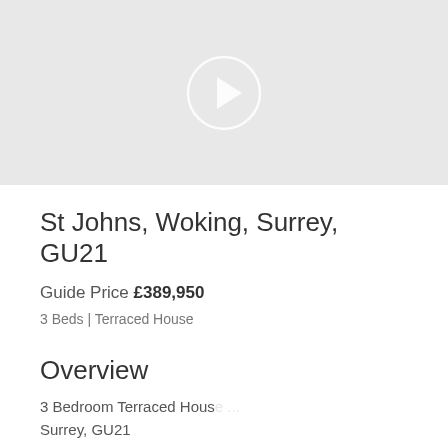[Figure (other): Video placeholder with play button on grey background]
St Johns, Woking, Surrey, GU21
Guide Price £389,950
3 Beds | Terraced House
Overview
3 Bedroom Terraced House ... Surrey, GU21
[Figure (other): Book a Property Valuation button with pound sign speech bubble icon]